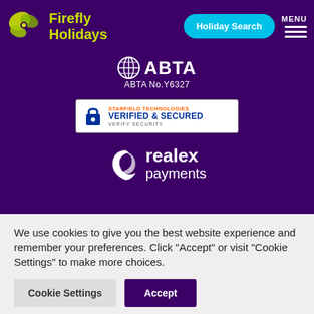[Figure (logo): Firefly Holidays logo with green butterfly/swirl icon and yellow-green brand name text on purple background, with Holiday Search button and MENU navigation]
[Figure (logo): ABTA logo with globe icon and text ABTA No.Y6327]
[Figure (logo): Starfield Technologies Verified & Secured badge with padlock icon]
[Figure (logo): Realex Payments logo with swirl icon on purple background]
We use cookies to give you the best website experience and remember your preferences. Click "Accept" or visit "Cookie Settings" to make more choices.